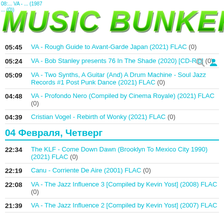[Figure (illustration): Green graffiti-style banner logo reading 'MUSIC BUNKER' with decorative lettering]
05:45  VA - Rough Guide to Avant-Garde Japan (2021) FLAC (0)
05:24  VA - Bob Stanley presents 76 In The Shade (2020) [CD-Rip] (0)
05:09  VA - Two Synths, A Guitar (And) A Drum Machine - Soul Jazz Records #1 Post Punk Dance (2021) FLAC (0)
04:48  VA - Profondo Nero (Compiled by Cinema Royale) (2021) FLAC (0)
04:39  Cristian Vogel - Rebirth of Wonky (2021) FLAC (0)
04 Февраля, Четверг
22:34  The KLF - Come Down Dawn (Brooklyn To Mexico City 1990) (2021) FLAC (0)
22:19  Canu - Corriente De Aire (2001) FLAC (0)
22:08  VA - The Jazz Influence 3 [Compiled by Kevin Yost] (2008) FLAC (0)
21:39  VA - The Jazz Influence 2 [Compiled by Kevin Yost] (2007) FLAC